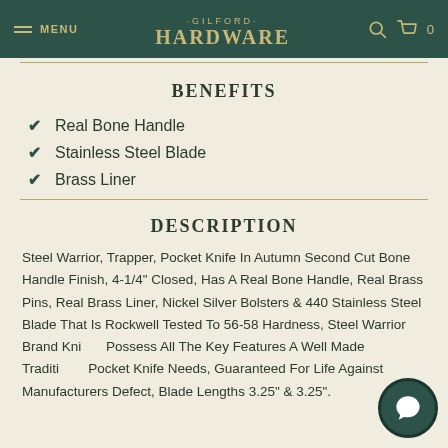MENU · GILFORD · HARDWARE
BENEFITS
Real Bone Handle
Stainless Steel Blade
Brass Liner
DESCRIPTION
Steel Warrior, Trapper, Pocket Knife In Autumn Second Cut Bone Handle Finish, 4-1/4" Closed, Has A Real Bone Handle, Real Brass Pins, Real Brass Liner, Nickel Silver Bolsters & 440 Stainless Steel Blade That Is Rockwell Tested To 56-58 Hardness, Steel Warrior Brand Knives Possess All The Key Features A Well Made Traditional Pocket Knife Needs, Guaranteed For Life Against Manufacturers Defect, Blade Lengths 3.25" & 3.25".